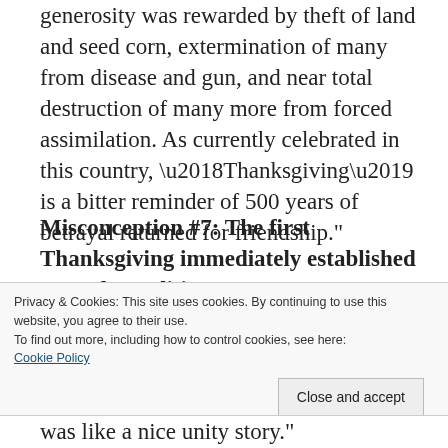generosity was rewarded by theft of land and seed corn, extermination of many from disease and gun, and near total destruction of many more from forced assimilation. As currently celebrated in this country, ‘Thanksgiving’ is a bitter reminder of 500 years of betrayal returned for friendship.”
Misconception #7: The first Thanksgiving immediately established a yearly tradition.
Nope. Sorry. Wrong again. According to Mashpee Wampanoag Tribal Historic Preservation Officer Ramona Peters, “It was
Privacy & Cookies: This site uses cookies. By continuing to use this website, you agree to their use.
To find out more, including how to control cookies, see here: Cookie Policy
was like a nice unity story.”